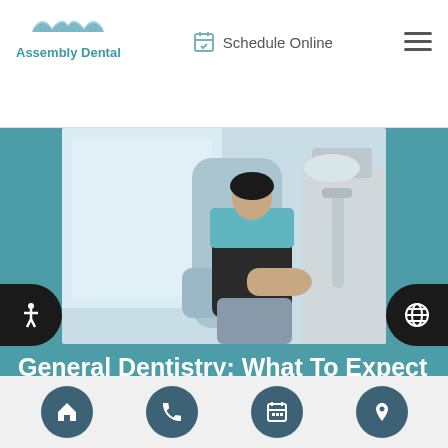Assembly Dental | Schedule Online
[Figure (photo): Patient sitting in a dental chair, wearing a dark top and jeans, hands resting on lap, dental equipment visible in background]
General Dentistry: What To Expect During A Teeth Cleaning
Curious about what happens during a teeth cleaning at a general dentistry office? Read on to learn more about what to expect during a professional dental cleaning. You may be aware that the dentist cleans your teeth and examines your mouth for signs of oral